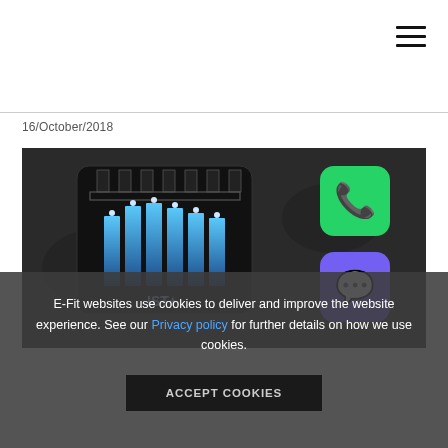16/October/2018
[Figure (screenshot): Dark technology background image showing IST+ logo (a dark chip/connector icon with blue vertical bars) alongside WhatsApp and Viber app icons on the right side.]
E-Fit websites use cookies to deliver and improve the website experience. See our Privacy policy for further details on how we use cookies.
ACCEPT COOKIES
E-Fit I...